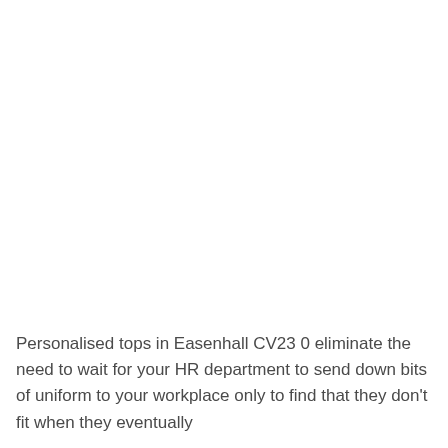Personalised tops in Easenhall CV23 0 eliminate the need to wait for your HR department to send down bits of uniform to your workplace only to find that they don't fit when they eventually